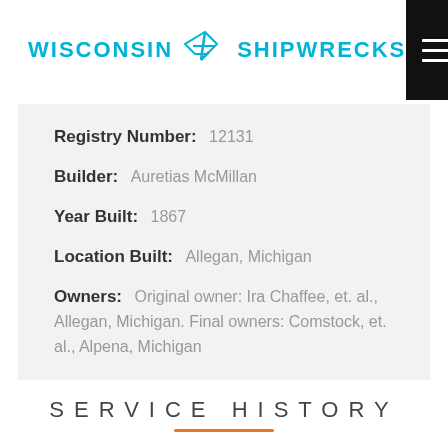WISCONSIN SHIPWRECKS
Registry Number: 12131
Builder: Auretias McMillan
Year Built: 1867
Location Built: Allegan, Michigan
Owners: Original owner: Ira Chaffee, et. al., Allegan, Michigan. Final owners: Comstock, et. al., Alpena, Michigan
SERVICE HISTORY